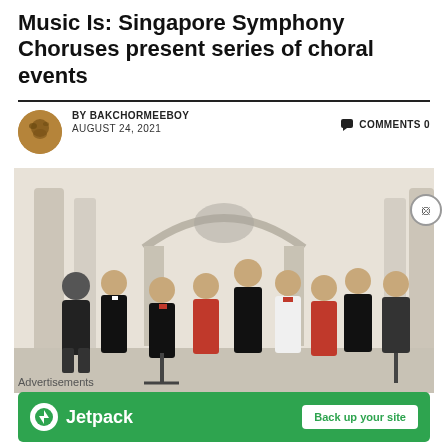Music Is: Singapore Symphony Choruses present series of choral events
BY BAKCHORMEEBOY   COMMENTS 0
AUGUST 24, 2021
[Figure (photo): Group photo of approximately 9 people dressed in formal black and red attire, posed in an elegant white architectural space with arched columns.]
Advertisements
[Figure (other): Jetpack advertisement banner with green background showing Jetpack logo and 'Back up your site' button.]